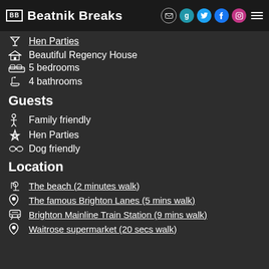BB | Beatnik Breaks
Hen Parties
Beautiful Regency House
5 bedrooms
4 bathrooms
Guests
Family friendly
Hen Parties
Dog friendly
Location
The beach (2 minutes walk)
The famous Brighton Lanes (5 mins walk)
Brighton Mainline Train Station (9 mins walk)
Waitrose supermarket (20 secs walk)